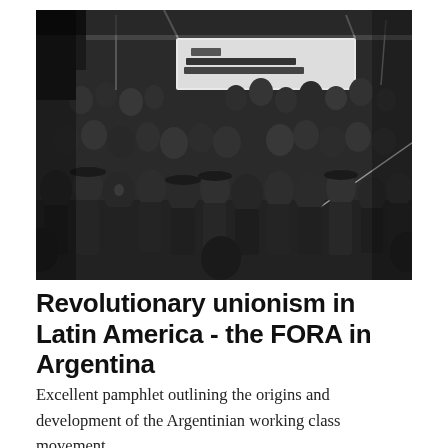[Figure (photo): Black and white historical photograph of a large crowd of workers at a demonstration or rally. A banner reading 'FEDERACION OBRERA REGIONAL ARGENTINA' is visible in the upper portion of the image. The crowd is densely packed, with people wearing early 20th century clothing including suits and caps.]
Revolutionary unionism in Latin America - the FORA in Argentina
Excellent pamphlet outlining the origins and development of the Argentinian working class movement,...